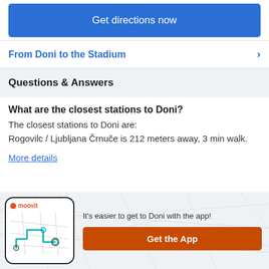Get directions now
From Doni to the Stadium
Questions & Answers
What are the closest stations to Doni?
The closest stations to Doni are:
Rogovilc / Ljubljana Črnuče is 212 meters away, 3 min walk.
More details
[Figure (screenshot): Moovit app logo displayed on phone mockup with map route lines]
It's easier to get to Doni with the app!
Get the App